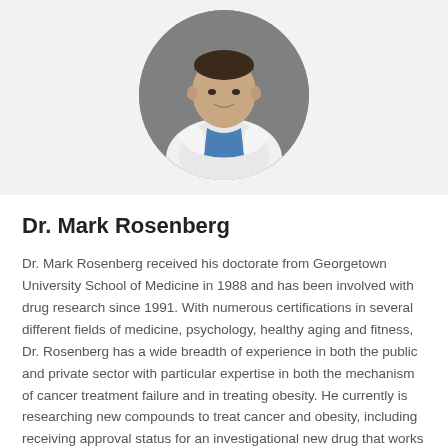[Figure (photo): Circular headshot photo of Dr. Mark Rosenberg wearing a white doctor's coat with blue scrubs underneath, against a gray background]
Dr. Mark Rosenberg
Dr. Mark Rosenberg received his doctorate from Georgetown University School of Medicine in 1988 and has been involved with drug research since 1991. With numerous certifications in several different fields of medicine, psychology, healthy aging and fitness, Dr. Rosenberg has a wide breadth of experience in both the public and private sector with particular expertise in both the mechanism of cancer treatment failure and in treating obesity. He currently is researching new compounds to treat cancer and obesity, including receiving approval status for an investigational new drug that works with chemotherapy and a patent pending for an oral appetite suppressant. He is currently President of the Institute for Healthy Aging, Program Director of the Integrative Cancer Fellowship, and Chief Medical